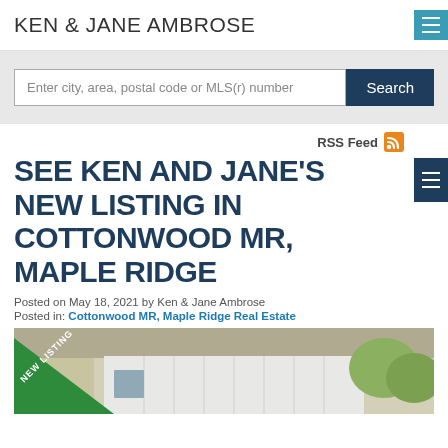KEN & JANE AMBROSE
Enter city, area, postal code or MLS(r) number
RSS Feed
SEE KEN AND JANE'S NEW LISTING IN COTTONWOOD MR, MAPLE RIDGE
Posted on May 18, 2021 by Ken & Jane Ambrose
Posted in: Cottonwood MR, Maple Ridge Real Estate
[Figure (photo): Exterior photo of a house with a new listing banner/badge in the lower left corner showing green diagonal banner with 'NEW LISTING' text]